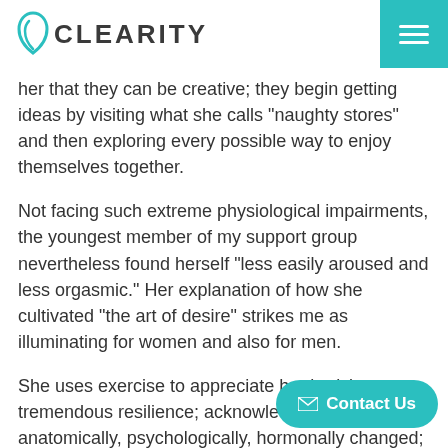CLEARITY
her that they can be creative; they begin getting ideas by visiting what she calls “naughty stores” and then exploring every possible way to enjoy themselves together.
Not facing such extreme physiological impairments, the youngest member of my support group nevertheless found herself “less easily aroused and less orgasmic.” Her explanation of how she cultivated “the art of desire” strikes me as illuminating for women and also for men.
She uses exercise to appreciate her body’s tremendous resilience; acknowledges that she is anatomically, psychologically, hormonally changed; experiments with solo